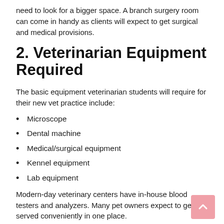need to look for a bigger space. A branch surgery room can come in handy as clients will expect to get surgical and medical provisions.
2. Veterinarian Equipment Required
The basic equipment veterinarian students will require for their new vet practice include:
Microscope
Dental machine
Medical/surgical equipment
Kennel equipment
Lab equipment
Modern-day veterinary centers have in-house blood testers and analyzers. Many pet owners expect to get served conveniently in one place.